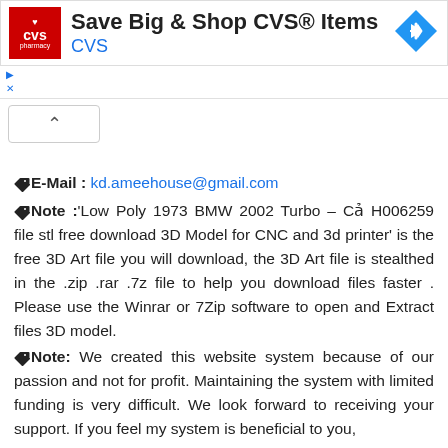[Figure (infographic): CVS Pharmacy advertisement banner: red CVS pharmacy logo on left, 'Save Big & Shop CVS® Items' title in bold black, 'CVS' subtitle in blue, blue diamond-shaped navigation arrow icon on right]
E-Mail : kd.ameehouse@gmail.com
Note :'Low Poly 1973 BMW 2002 Turbo – Cả H006259 file stl free download 3D Model for CNC and 3d printer' is the free 3D Art file you will download, the 3D Art file is stealthed in the .zip .rar .7z file to help you download files faster . Please use the Winrar or 7Zip software to open and Extract files 3D model.
Note: We created this website system because of our passion and not for profit. Maintaining the system with limited funding is very difficult. We look forward to receiving your support. If you feel my system is beneficial to you,